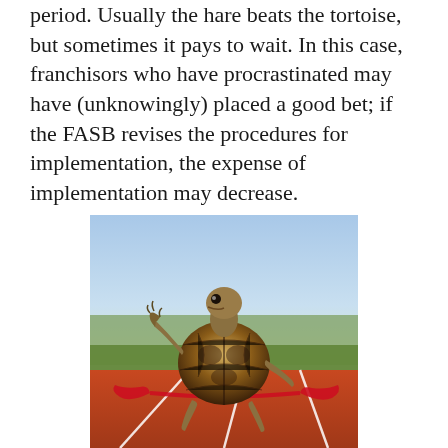period. Usually the hare beats the tortoise, but sometimes it pays to wait. In this case, franchisors who have procrastinated may have (unknowingly) placed a good bet; if the FASB revises the procedures for implementation, the expense of implementation may decrease.
[Figure (photo): A tortoise running upright on a red athletics track, crossing a red finishing ribbon, with a blurred green background and white lane lines visible.]